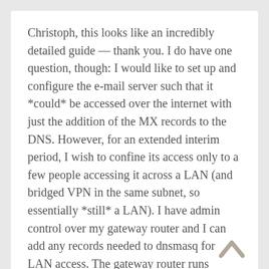Christoph, this looks like an incredibly detailed guide — thank you. I do have one question, though: I would like to set up and configure the e-mail server such that it *could* be accessed over the internet with just the addition of the MX records to the DNS. However, for an extended interim period, I wish to confine its access only to a few people accessing it across a LAN (and bridged VPN in the same subnet, so essentially *still* a LAN). I have admin control over my gateway router and I can add any records needed to dnsmasq for LAN access. The gateway router runs OpenWRT and uses dnsmasq for local DNS and all non-local accesses are handed by dnsmasq to Unbound, which is internet-facing. Are there any special considerations for operating the e-mail server in this “intranet” environment?